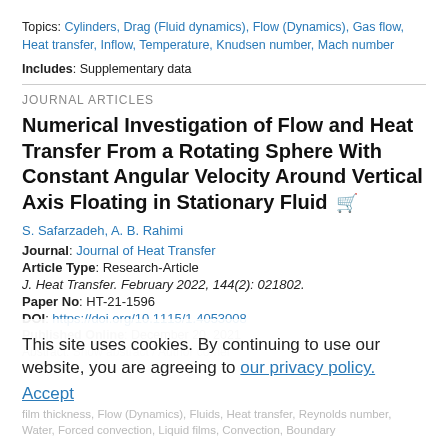Topics: Cylinders, Drag (Fluid dynamics), Flow (Dynamics), Gas flow, Heat transfer, Inflow, Temperature, Knudsen number, Mach number
Includes: Supplementary data
JOURNAL ARTICLES
Numerical Investigation of Flow and Heat Transfer From a Rotating Sphere With Constant Angular Velocity Around Vertical Axis Floating in Stationary Fluid
S. Safarzadeh, A. B. Rahimi
Journal: Journal of Heat Transfer
Article Type: Research-Article
J. Heat Transfer. February 2022, 144(2): 021802.
Paper No: HT-21-1596
DOI: https://doi.org/10.1115/1.4053008
Published Online: December 20, 2021
This site uses cookies. By continuing to use our website, you are agreeing to our privacy policy. Accept